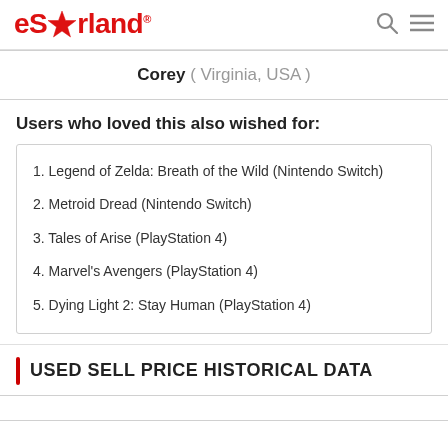eStarland
Corey ( Virginia, USA )
Users who loved this also wished for:
1. Legend of Zelda: Breath of the Wild (Nintendo Switch)
2. Metroid Dread (Nintendo Switch)
3. Tales of Arise (PlayStation 4)
4. Marvel's Avengers (PlayStation 4)
5. Dying Light 2: Stay Human (PlayStation 4)
USED SELL PRICE HISTORICAL DATA